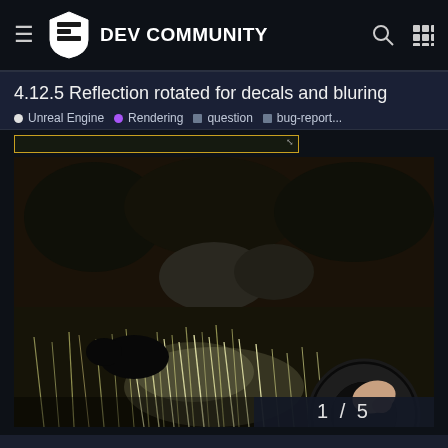Epic Games Dev Community
4.12.5 Reflection rotated for decals and bluring
Unreal Engine • Rendering • question • bug-report...
[Figure (screenshot): In-game screenshot showing a dark outdoor scene with grass, rocks, and trees, with a steering wheel visible in the lower right corner. Image counter shows 1/5.]